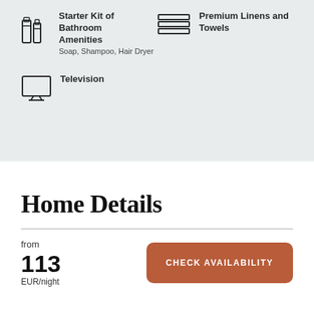Starter Kit of Bathroom Amenities — Soap, Shampoo, Hair Dryer
Premium Linens and Towels
Television
Home Details
from 113 EUR/night
CHECK AVAILABILITY